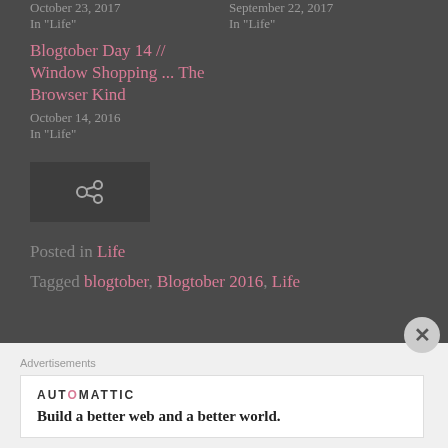October 23, 2017
In "Life"
September 22, 2017
In "Life"
Blogtober Day 14 // Window Shopping ... The Browser Kind
October 14, 2016
In "Life"
[Figure (other): Share icon (chain link symbol) in a dark box]
Posted in Life
Tagged blogtober, Blogtober 2016, Life
Advertisements
AUTOMATTIC
Build a better web and a better world.